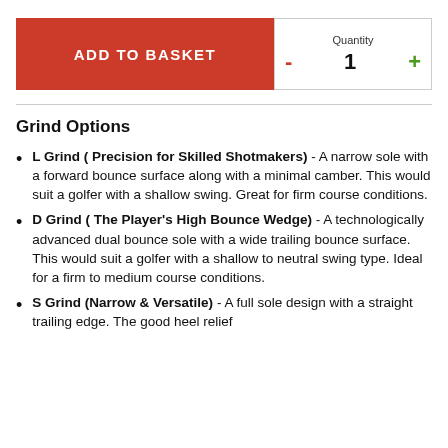ADD TO BASKET
Quantity - 1 +
Grind Options
L Grind ( Precision for Skilled Shotmakers) - A narrow sole with a forward bounce surface along with a minimal camber. This would suit a golfer with a shallow swing. Great for firm course conditions.
D Grind ( The Player's High Bounce Wedge) - A technologically advanced dual bounce sole with a wide trailing bounce surface. This would suit a golfer with a shallow to neutral swing type. Ideal for a firm to medium course conditions.
S Grind (Narrow & Versatile) - A full sole design with a straight trailing edge. The good heel relief